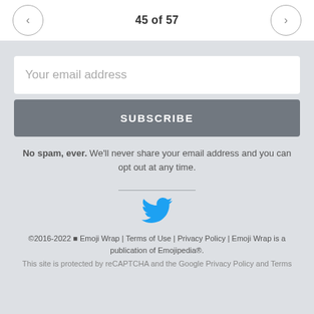45 of 57
Your email address
SUBSCRIBE
No spam, ever. We'll never share your email address and you can opt out at any time.
[Figure (logo): Twitter bird logo icon in blue]
©2016-2022 ◼ Emoji Wrap | Terms of Use | Privacy Policy | Emoji Wrap is a publication of Emojipedia®.
This site is protected by reCAPTCHA and the Google Privacy Policy and Terms